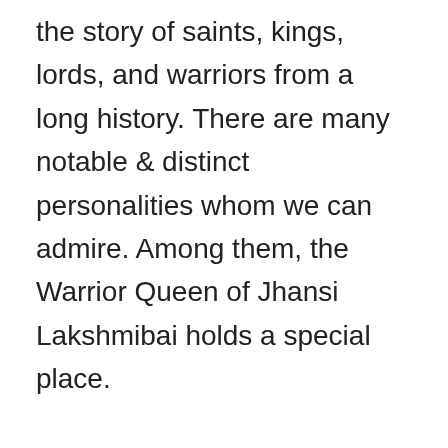the story of saints, kings, lords, and warriors from a long history. There are many notable & distinct personalities whom we can admire. Among them, the Warrior Queen of Jhansi Lakshmibai holds a special place.